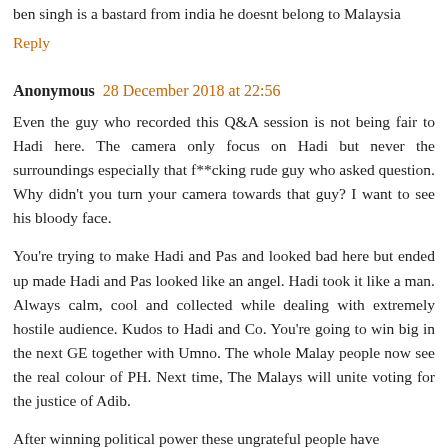ben singh is a bastard from india he doesnt belong to Malaysia
Reply
Anonymous 28 December 2018 at 22:56
Even the guy who recorded this Q&A session is not being fair to Hadi here. The camera only focus on Hadi but never the surroundings especially that f**cking rude guy who asked question. Why didn't you turn your camera towards that guy? I want to see his bloody face.
You're trying to make Hadi and Pas and looked bad here but ended up made Hadi and Pas looked like an angel. Hadi took it like a man. Always calm, cool and collected while dealing with extremely hostile audience. Kudos to Hadi and Co. You're going to win big in the next GE together with Umno. The whole Malay people now see the real colour of PH. Next time, The Malays will unite voting for the justice of Adib.
After winning political power these ungrateful people have